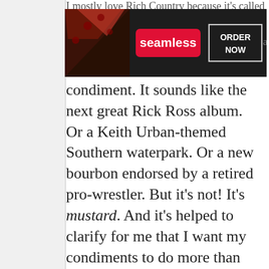[Figure (screenshot): Seamless food delivery advertisement banner with pizza image on dark background, red 'seamless' badge and white-bordered 'ORDER NOW' button]
condiment. It sounds like the next great Rick Ross album. Or a Keith Urban-themed Southern waterpark. Or a new bourbon endorsed by a retired pro-wrestler. But it's not! It's mustard. And it's helped to clarify for me that I want my condiments to do more than simply enhance the taste of food I'm preparing — I want them to enhance my life, to spark joy
We use cookies on our website to give you the most relevant experience by remembering your preferences and repeat visits. By clicking “Accept”, you consent to the use of ALL the cookies.
Do not sell my personal information.
[Figure (screenshot): Macy's advertisement banner with red background, woman model, KISS BORING LIPS GOODBYE text, SHOP NOW button and macy's star logo]